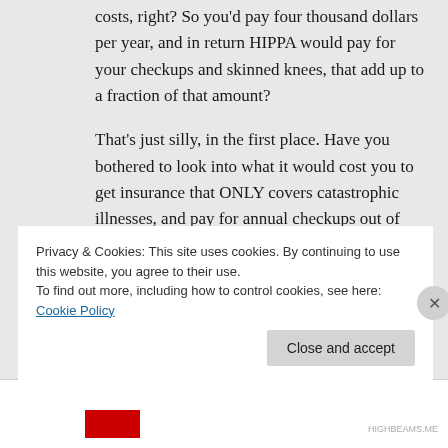costs, right? So you'd pay four thousand dollars per year, and in return HIPPA would pay for your checkups and skinned knees, that add up to a fraction of that amount?
That's just silly, in the first place. Have you bothered to look into what it would cost you to get insurance that ONLY covers catastrophic illnesses, and pay for annual checkups out of what you'd save?
And yes, as I noted, there are a small
Privacy & Cookies: This site uses cookies. By continuing to use this website, you agree to their use.
To find out more, including how to control cookies, see here: Cookie Policy